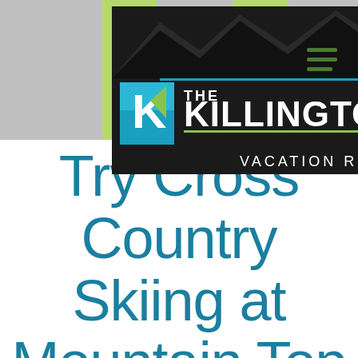[Figure (logo): The Killington Group Vacation Rentals logo on black background with mountain silhouette and teal/green K shield icon]
Try Cross Country Skiing at Mountain Top Inn Nordic Cen...